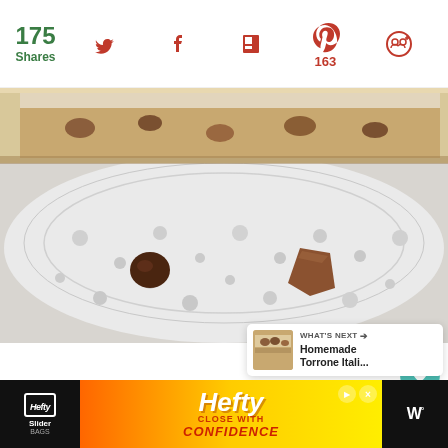175 Shares
[Figure (photo): Social sharing toolbar with Twitter, Facebook, Flipboard, Pinterest (163), and email/follow icons. Green '175 Shares' count on the left.]
[Figure (photo): Close-up photo of a nougat/torrone bar with nuts on a white lace doily. Two chocolate/nut pieces visible on the doily surface.]
[Figure (infographic): Right-side floating action buttons: teal heart/save button and white share button with plus icon.]
[Figure (infographic): What's Next card showing thumbnail of torrone bar with text 'WHAT'S NEXT → Homemade Torrone Itali...']
[Figure (infographic): Hefty Slider Bags advertisement banner: 'Hefty CLOSE WITH CONFIDENCE' on yellow/orange gradient background with dark sections on sides.]